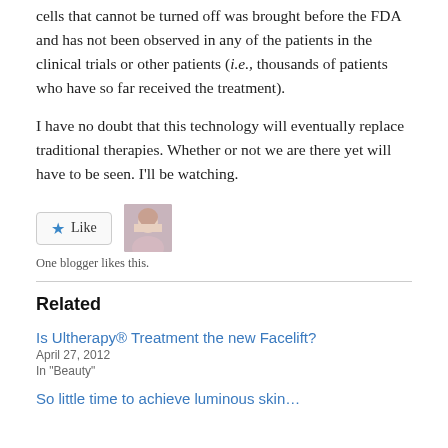cells that cannot be turned off was brought before the FDA and has not been observed in any of the patients in the clinical trials or other patients (i.e., thousands of patients who have so far received the treatment).
I have no doubt that this technology will eventually replace traditional therapies. Whether or not we are there yet will have to be seen. I'll be watching.
[Figure (other): Like button with star icon and blogger avatar thumbnail]
One blogger likes this.
Related
Is Ultherapy® Treatment the new Facelift?
April 27, 2012
In "Beauty"
So little time to achieve luminous skin…